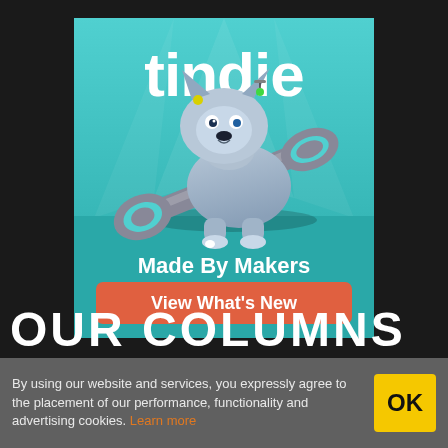[Figure (illustration): Tindie advertisement banner showing a robot dog holding a wrench with the text 'tindie', 'Made By Makers', and a red button 'View What's New' on a teal background]
OUR COLUMNS
By using our website and services, you expressly agree to the placement of our performance, functionality and advertising cookies. Learn more
OK